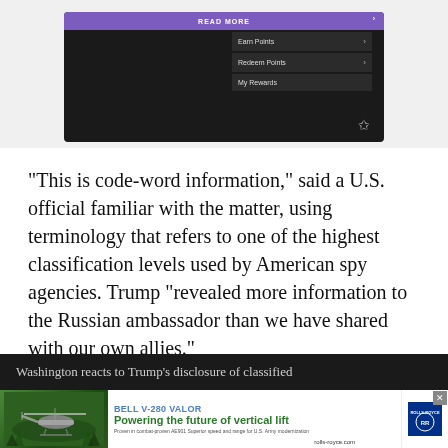[Figure (screenshot): A smartphone screen showing a mobile app with a purple 'READ MORE' banner at top and menu items: Earn Points, Redeem Points, My Rewards. Dark background with a star icon.]
“This is code-word information,” said a U.S. official familiar with the matter, using terminology that refers to one of the highest classification levels used by American spy agencies. Trump “revealed more information to the Russian ambassador than we have shared with our own allies.”
Washington reacts to Trump’s disclosure of classified
[Figure (advertisement): Bell V-280 Valor advertisement. 'Powering the future of vertical lift' tagline in green. Shows a helicopter image on the left. rolls-royce.com URL at bottom right.]